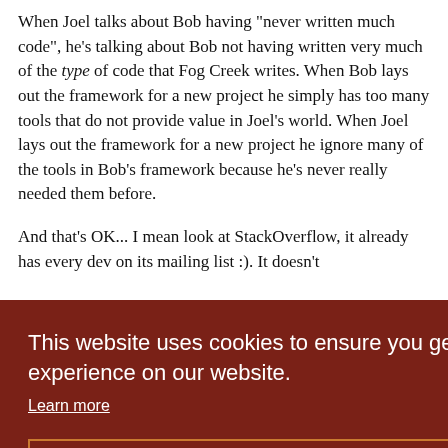When Joel talks about Bob having "never written much code", he's talking about Bob not having written very much of the type of code that Fog Creek writes. When Bob lays out the framework for a new project he simply has too many tools that do not provide value in Joel's world. When Joel lays out the framework for a new project he ignore many of the tools in Bob's framework because he's never really needed them before.
And that's OK... I mean look at StackOverflow, it already has every dev on its mailing list :). It doesn't [tial]
[Figure (other): Cookie consent banner overlay with dark red/brown background. Text reads: 'This website uses cookies to ensure you get the best experience on our website.' with a 'Learn more' link and a 'Got it!' button with an orange border.]
[mers] [uter] [D when] these programmers taught themselves TDD. Same